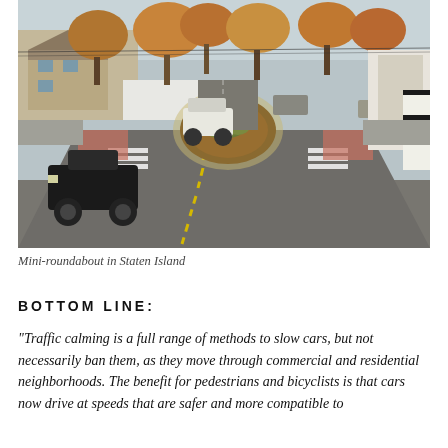[Figure (photo): Aerial-angle street-level photograph of a mini-roundabout intersection in Staten Island. Two streets meet at a circular traffic island landscaped with plants. Autumn trees with orange/brown foliage line the street. A black pickup truck approaches on the left lane, a white SUV is seen near the roundabout, and parked cars are visible along the background streets. Crosswalks with red brick-patterned curb extensions are visible on multiple corners. White construction barriers appear on the right.]
Mini-roundabout in Staten Island
BOTTOM LINE:
“Traffic calming is a full range of methods to slow cars, but not necessarily ban them, as they move through commercial and residential neighborhoods. The benefit for pedestrians and bicyclists is that cars now drive at speeds that are safer and more compatible to